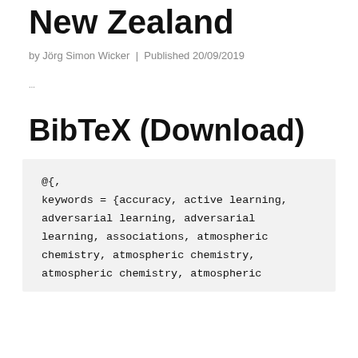New Zealand
by Jörg Simon Wicker | Published 20/09/2019
…
BibTeX (Download)
@{,
keywords = {accuracy, active learning, adversarial learning, adversarial learning, associations, atmospheric chemistry, atmospheric chemistry, atmospheric chemistry, atmospheric